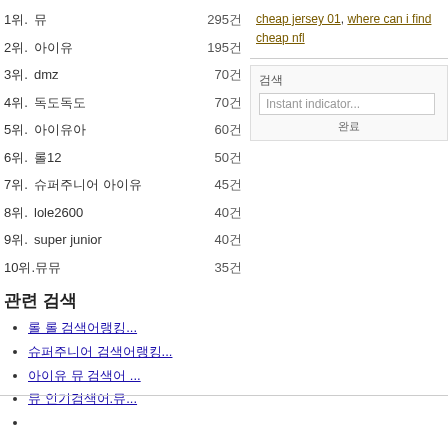1위. 뮤 2950건
2위. 아이유 1950건
3위. dmz 700건
4위. 독도독도 700건
5위. 아이유아 600건
6위. 롤12 500건
7위. 슈퍼주니어 아이유 450건
8위. lole2600 400건
9위. super junior 400건
10위. 뮤뮤 350건
cheap jersey 01, where can i find cheap nfl
검색
Instant indicator...
완료
관련 검색
롤 롤 검색어랭킹...
슈퍼주니어 검색어랭킹...
아이유 뮤 검색어 ...
뮤 인기검색어.뮤...